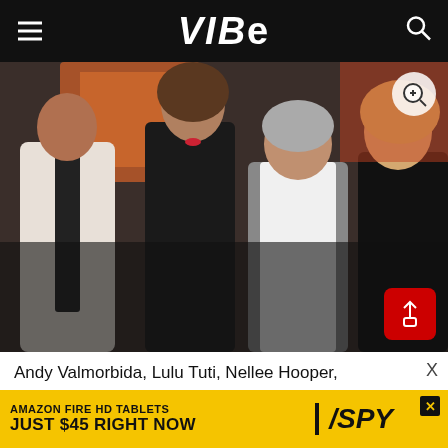VIBE
[Figure (photo): Four people posing together at an event: a man in a white shirt and black tie on the left, a tall woman in a black crop top and leather skirt, a middle-aged man in gray cardigan and white shirt, and a blonde woman in a black dress on the right. Gallery/party setting with colorful artwork in background.]
Andy Valmorbida, Lulu Tuti, Nellee Hooper,
[Figure (other): Amazon Fire HD Tablets advertisement banner - 'AMAZON FIRE HD TABLETS JUST $45 RIGHT NOW' with SPY logo, yellow background with black text]